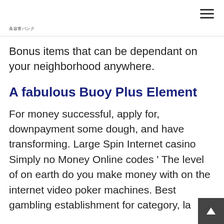美容室バンク
Bonus items that can be dependant on your neighborhood anywhere.
A fabulous Buoy Plus Element
For money successful, apply for, downpayment some dough, and have transforming. Large Spin Internet casino Simply no Money Online codes ' The level of on earth do you make money with on the internet video poker machines. Best gambling establishment for category, la